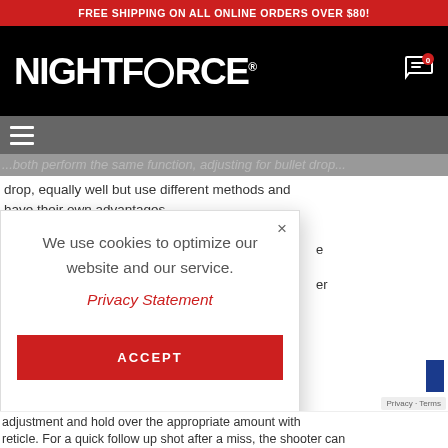FREE SHIPPING ON ALL ONLINE ORDERS OVER $80!
[Figure (logo): Nightforce brand logo in white bold text on black background with cart icon]
[Figure (screenshot): Navigation bar with hamburger menu icon on dark gray background]
...both perform the same function, adjusting for bullet drop, equally well but use different methods and have their own advantages.
We use cookies to optimize our website and our service.
Privacy Statement
ACCEPT
adjustment and hold over the appropriate amount with
reticle. For a quick follow up shot after a miss, the shooter can